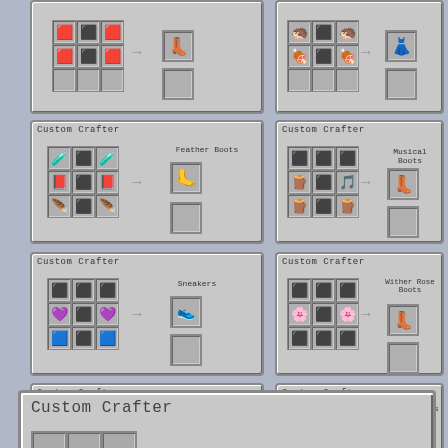[Figure (screenshot): Minecraft custom crafter recipe for red boots (top-left, partial)]
[Figure (screenshot): Minecraft custom crafter recipe for leather/white leggings (top-right, partial)]
[Figure (screenshot): Minecraft custom crafter recipe: Feather Boots - potions, books, feathers]
[Figure (screenshot): Minecraft custom crafter recipe: Musical Boots - wood blocks and jukebox]
[Figure (screenshot): Minecraft custom crafter recipe: Sneakers - potions and blue blocks]
[Figure (screenshot): Minecraft custom crafter recipe: Wither Rose Boots - wither roses and coal/obsidian]
[Figure (screenshot): Minecraft custom crafter recipe: Flaming Boots - campfires and netherrack]
[Figure (screenshot): Minecraft custom crafter recipe: Frosty Boots - helmets and blue ice]
[Figure (screenshot): Minecraft Custom Crafter large label at bottom, partial view]